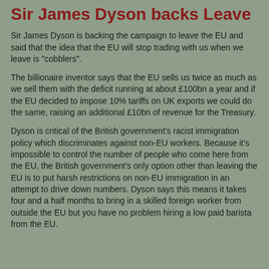Sir James Dyson backs Leave
Sir James Dyson is backing the campaign to leave the EU and said that the idea that the EU will stop trading with us when we leave is "cobblers".
The billionaire inventor says that the EU sells us twice as much as we sell them with the deficit running at about £100bn a year and if the EU decided to impose 10% tariffs on UK exports we could do the same, raising an additional £10bn of revenue for the Treasury.
Dyson is critical of the British government's racist immigration policy which discriminates against non-EU workers. Because it's impossible to control the number of people who come here from the EU, the British government's only option other than leaving the EU is to put harsh restrictions on non-EU immigration in an attempt to drive down numbers. Dyson says this means it takes four and a half months to bring in a skilled foreign worker from outside the EU but you have no problem hiring a low paid barista from the EU.